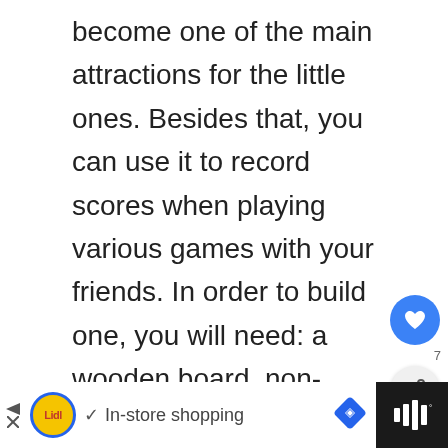become one of the main attractions for the little ones. Besides that, you can use it to record scores when playing various games with your friends. In order to build one, you will need: a wooden board, non-VOC(volatile organic compound) paint in black,and 1 tablespoon unsanded grout. Fix the board into the fence, mix grout with non-VOC paint and apply three coats of paint.
[Figure (screenshot): UI overlay with heart/like button (blue circle with heart icon), share count number 7, and share button (circle with share icon)]
[Figure (screenshot): What's Next card showing thumbnail of gazebo and text 'WHAT'S NEXT → 10 Best Gazebos...']
[Figure (screenshot): Bottom advertisement bar: Lidl logo, checkmark, 'In-store shopping' text, blue diamond navigation icon, dark right section with audio/sound icon]